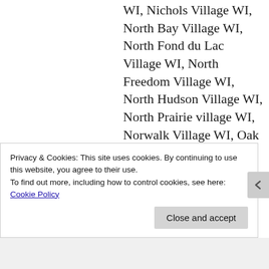WI, Nichols Village WI, North Bay Village WI, North Fond du Lac Village WI, North Freedom Village WI, North Hudson Village WI, North Prairie village WI, Norwalk Village WI, Oak Creek WI, Oakdale Village WI, Oakfield Village WI, Oconomowoc WI, Oconomowoc Lake Village
Privacy & Cookies: This site uses cookies. By continuing to use this website, you agree to their use.
To find out more, including how to control cookies, see here: Cookie Policy